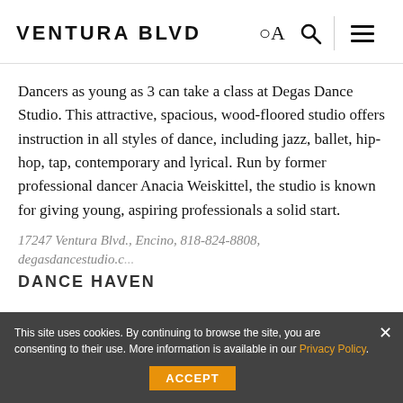VENTURA BLVD
Dancers as young as 3 can take a class at Degas Dance Studio. This attractive, spacious, wood-floored studio offers instruction in all styles of dance, including jazz, ballet, hip-hop, tap, contemporary and lyrical. Run by former professional dancer Anacia Weiskittel, the studio is known for giving young, aspiring professionals a solid start.
17247 Ventura Blvd., Encino, 818-324-8808, degasdancestudio.c...
DANCE HAVEN
This site uses cookies. By continuing to browse the site, you are consenting to their use. More information is available in our Privacy Policy.